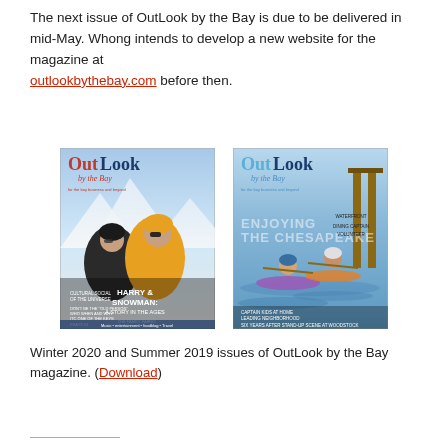The next issue of OutLook by the Bay is due to be delivered in mid-May. Whong intends to develop a new website for the magazine at outlookbythebay.com before then.
[Figure (photo): Two magazine covers side by side: left is Winter 2020 OutLook by the Bay showing two people in ski gear on a snowy mountain with headline HARRY & SNOWMAN; right is Summer 2019 OutLook by the Bay showing two people kayaking on water with headline ENJOYING THE CHESAPEAKE.]
Winter 2020 and Summer 2019 issues of OutLook by the Bay magazine. (Download)